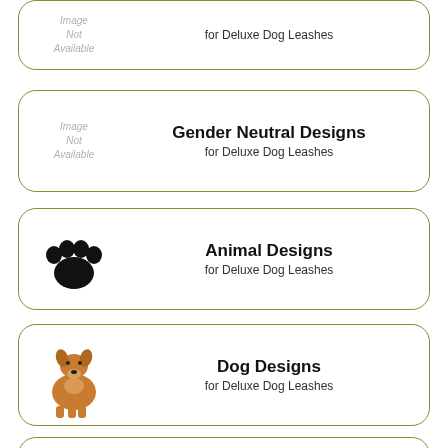[Figure (other): Card with image placeholder and text: 'for Deluxe Dog Leashes' (top cut off)]
[Figure (other): Card with Image Not Available placeholder and title: Gender Neutral Designs for Deluxe Dog Leashes]
[Figure (other): Card with paw print icon and title: Animal Designs for Deluxe Dog Leashes]
[Figure (other): Card with illustrated dog icon and title: Dog Designs for Deluxe Dog Leashes]
[Figure (other): Card with bold 'Text' word and title: Name/Text Designs for Deluxe Dog Leashes]